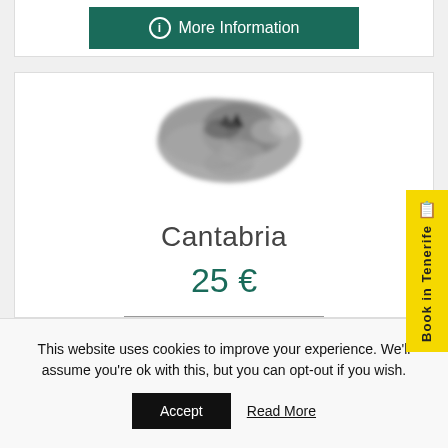[Figure (other): More Information button with teal/dark green background and info icon]
[Figure (photo): Greyscale map silhouette of the Cantabria region of Spain]
Cantabria
25 €
[Figure (other): Yellow vertical side tab with book icon and text 'Book in Tenerife']
This website uses cookies to improve your experience. We'll assume you're ok with this, but you can opt-out if you wish.
Accept
Read More